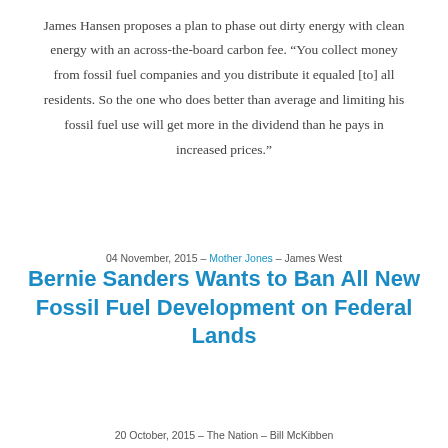James Hansen proposes a plan to phase out dirty energy with clean energy with an across-the-board carbon fee. “You collect money from fossil fuel companies and you distribute it equaled [to] all residents. So the one who does better than average and limiting his fossil fuel use will get more in the dividend than he pays in increased prices.”
04 November, 2015 – Mother Jones – James West
Bernie Sanders Wants to Ban All New Fossil Fuel Development on Federal Lands
20 October, 2015 – The Nation – Bill McKibben